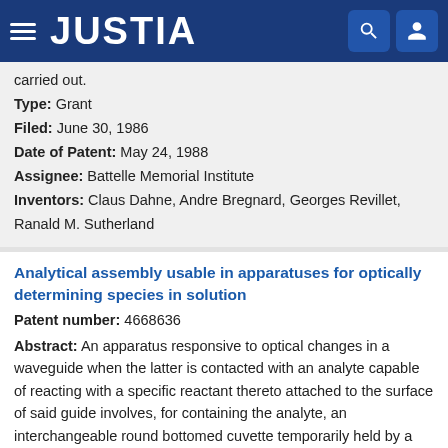JUSTIA
carried out.
Type: Grant
Filed: June 30, 1986
Date of Patent: May 24, 1988
Assignee: Battelle Memorial Institute
Inventors: Claus Dahne, Andre Bregnard, Georges Revillet, Ranald M. Sutherland
Analytical assembly usable in apparatuses for optically determining species in solution
Patent number: 4668636
Abstract: An apparatus responsive to optical changes in a waveguide when the latter is contacted with an analyte capable of reacting with a specific reactant thereto attached to the surface of said guide involves, for containing the analyte, an interchangeable round bottomed cuvette temporarily held by a suitably shaped